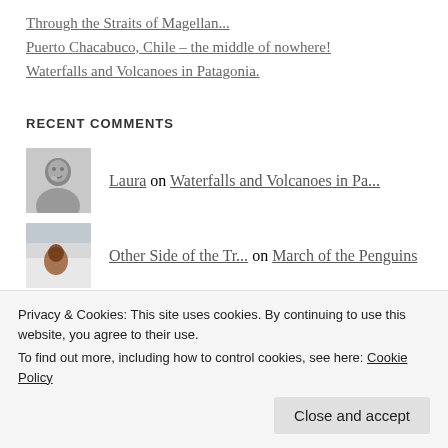Through the Straits of Magellan...
Puerto Chacabuco, Chile – the middle of nowhere!
Waterfalls and Volcanoes in Patagonia.
RECENT COMMENTS
Laura on Waterfalls and Volcanoes in Pa...
Other Side of the Tr... on March of the Penguins
Privacy & Cookies: This site uses cookies. By continuing to use this website, you agree to their use.
To find out more, including how to control cookies, see here: Cookie Policy